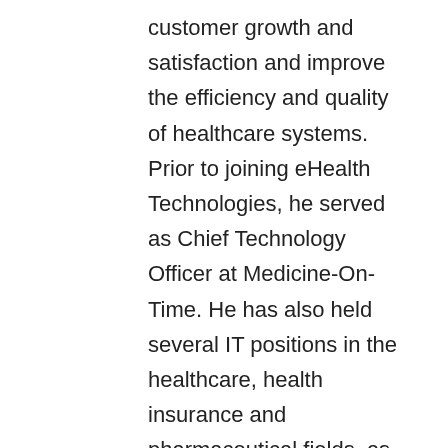customer growth and satisfaction and improve the efficiency and quality of healthcare systems. Prior to joining eHealth Technologies, he served as Chief Technology Officer at Medicine-On-Time. He has also held several IT positions in the healthcare, health insurance and pharmaceutical fields, as well as the banking and transportation industries. As the chair of HealtheLink's Enterprise Architecture Sub-Committee from 2005 to 2009, Rick helped position the company to exchange clinical health information by leading evaluation of the Health Information Exchange (HIE) software. A US Airforce Veteran, Rick has a bachelor's in Management Information Systems. Rick has two grown